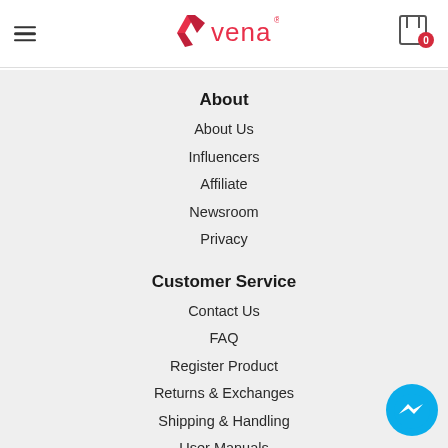Vena website header with hamburger menu, Vena logo, and cart icon showing 0
About
About Us
Influencers
Affiliate
Newsroom
Privacy
Customer Service
Contact Us
FAQ
Register Product
Returns & Exchanges
Shipping & Handling
User Manuals
Warranty
Warranty Claim Request
[Figure (logo): Vena brand logo with red V-shaped arrow and red 'vena' wordmark with registered trademark symbol]